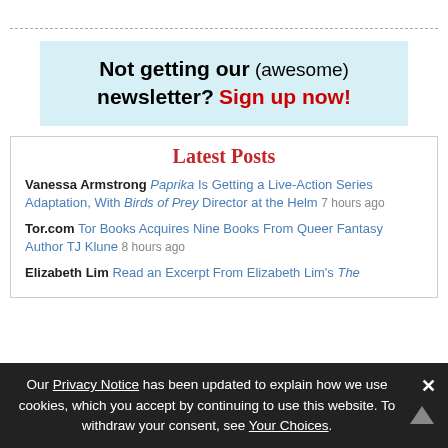[Figure (other): Newsletter signup banner with light blue background. Text: 'Not getting our (awesome) newsletter? Sign up now!' with bold black and bold red text.]
Latest Posts
Vanessa Armstrong Paprika Is Getting a Live-Action Series Adaptation, With Birds of Prey Director at the Helm 7 hours ago
Tor.com Tor Books Acquires Nine Books From Queer Fantasy Author TJ Klune 8 hours ago
Elizabeth Lim Read an Excerpt From Elizabeth Lim's The
Our Privacy Notice has been updated to explain how we use cookies, which you accept by continuing to use this website. To withdraw your consent, see Your Choices.